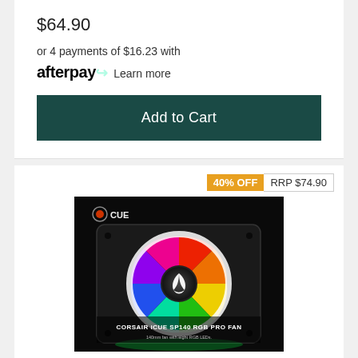$64.90
or 4 payments of $16.23 with afterpay Learn more
Add to Cart
40% OFF  RRP $74.90
[Figure (photo): Corsair iCUE SP140 RGB Pro Fan product photo on black background showing a 140mm fan with rainbow RGB LEDs illuminated and the Corsair logo on the hub. Text overlay reads CORSAIR iCUE SP140 RGB PRO FAN, 140mm fan with eight RGB LEDs.]
Corsair SP 140mm Fan RGB PRO Single Pack